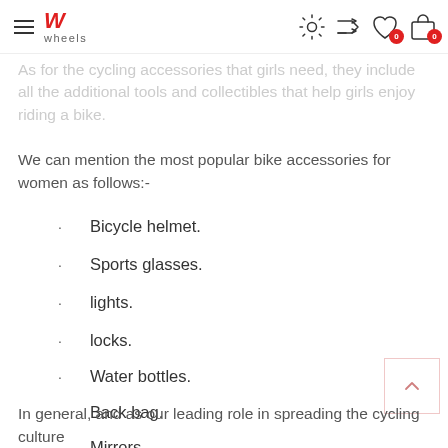wheels — navigation header with logo and icons
As for the cycling accessories that girls need, they include all the additional tools and collectibles that help girls enjoy riding a bike.
We can mention the most popular bike accessories for women as follows:-
Bicycle helmet.
Sports glasses.
lights.
locks.
Water bottles.
Back bag.
Mirrors
In general, and as our leading role in spreading the cycling culture